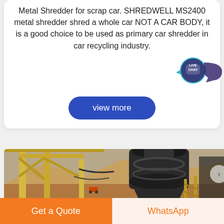Metal Shredder for scrap car. SHREDWELL MS2400 metal shredder shred a whole car NOT A CAR BODY, it is a good choice to be used as primary car shredder in car recycling industry.
[Figure (other): Live chat bubble icon in teal/cyan color with text LIVE CHAT]
[Figure (other): Button labeled 'view more' with blue rounded rectangle background]
[Figure (photo): Industrial machinery photo showing a large black cone crusher or shredder machine mounted on yellow steel frame structure, with rocky terrain/mine in the background]
[Figure (other): Bottom navigation buttons: orange 'Get a Quote' button on left, light orange 'WhatsApp' button on right]